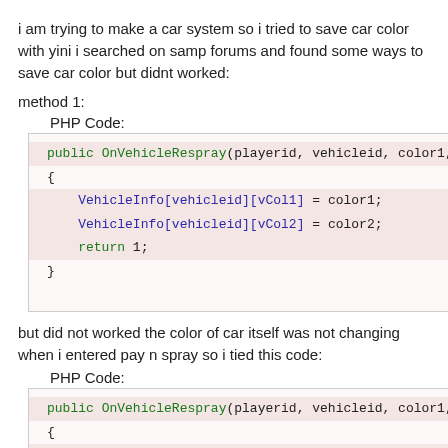i am trying to make a car system so i tried to save car color with yini i searched on samp forums and found some ways to save car color but didnt worked:
method 1:
PHP Code:
[Figure (screenshot): Code block showing PHP/Pawn code: public OnVehicleRespray(playerid, vehicleid, color1, colo... { VehicleInfo[vehicleid][vCol1] = color1; VehicleInfo[vehicleid][vCol2] = color2; return 1; }]
but did not worked the color of car itself was not changing when i entered pay n spray so i tied this code:
PHP Code:
[Figure (screenshot): Code block showing PHP/Pawn code: public OnVehicleRespray(playerid, vehicleid, color1, colo... { VehicleInfo[vehicleid][vCol1] = color1;]